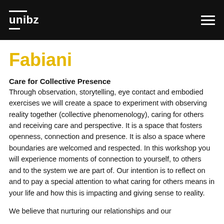unibz
Fabiani
Care for Collective Presence
Through observation, storytelling, eye contact and embodied exercises we will create a space to experiment with observing reality together (collective phenomenology), caring for others and receiving care and perspective. It is a space that fosters openness, connection and presence. It is also a space where boundaries are welcomed and respected. In this workshop you will experience moments of connection to yourself, to others and to the system we are part of. Our intention is to reflect on and to pay a special attention to what caring for others means in your life and how this is impacting and giving sense to reality.
We believe that nurturing our relationships and our